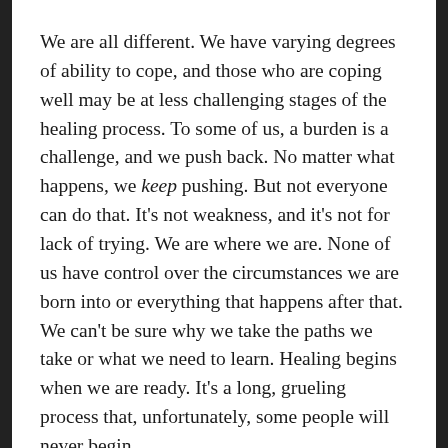We are all different. We have varying degrees of ability to cope, and those who are coping well may be at less challenging stages of the healing process. To some of us, a burden is a challenge, and we push back. No matter what happens, we keep pushing. But not everyone can do that. It's not weakness, and it's not for lack of trying. We are where we are. None of us have control over the circumstances we are born into or everything that happens after that. We can't be sure why we take the paths we take or what we need to learn. Healing begins when we are ready. It's a long, grueling process that, unfortunately, some people will never begin.
I think it's safe to say that Thirteen Reasons